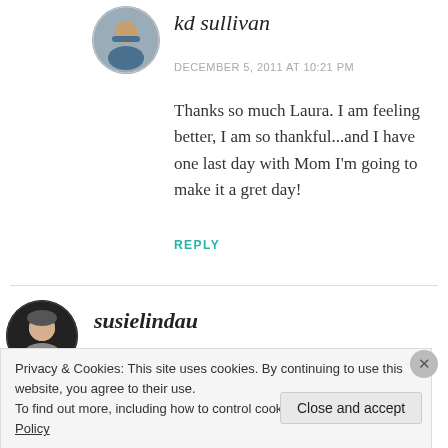[Figure (photo): Circular avatar photo of kd sullivan, a woman with glasses and blue scarf]
kd sullivan
DECEMBER 5, 2011 AT 10:21 PM
Thanks so much Laura. I am feeling better, I am so thankful...and I have one last day with Mom I'm going to make it a gret day!
REPLY
[Figure (photo): Circular avatar photo of susielindau]
susielindau
Privacy & Cookies: This site uses cookies. By continuing to use this website, you agree to their use.
To find out more, including how to control cookies, see here: Cookie Policy
Close and accept